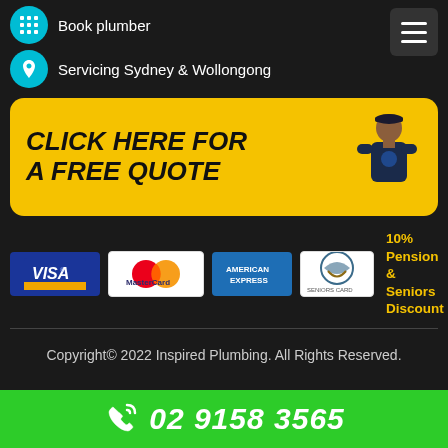Book plumber
Servicing Sydney & Wollongong
[Figure (illustration): Yellow banner with bold italic text 'CLICK HERE FOR A FREE QUOTE' and a photo of a plumber]
[Figure (infographic): Payment method logos: Visa, MasterCard, American Express, Seniors Card; and '10% Pension & Seniors Discount' text]
Copyright© 2022 Inspired Plumbing. All Rights Reserved.
02 9158 3565